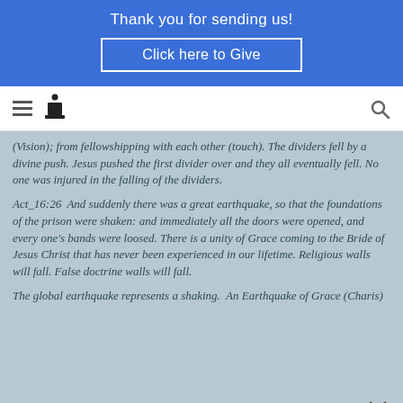Thank you for sending us!
Click here to Give
[Figure (other): Navigation bar with hamburger menu, podium logo icon, and search icon]
(Vision); from fellowshipping with each other (touch). The dividers fell by a divine push. Jesus pushed the first divider over and they all eventually fell. No one was injured in the falling of the dividers.
Act_16:26  And suddenly there was a great earthquake, so that the foundations of the prison were shaken: and immediately all the doors were opened, and every one's bands were loosed. There is a unity of Grace coming to the Bride of Jesus Christ that has never been experienced in our lifetime. Religious walls will fall. False doctrine walls will fall.
The global earthquake represents a shaking.  An Earthquake of Grace (Charis)